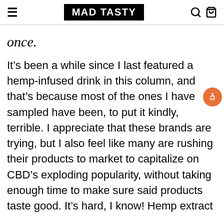MAD TASTY
once.
It’s been a while since I last featured a hemp-infused drink in this column, and that’s because most of the ones I have sampled have been, to put it kindly, terrible. I appreciate that these brands are trying, but I also feel like many are rushing their products to market to capitalize on CBD’s exploding popularity, without taking enough time to make sure said products taste good. It’s hard, I know! Hemp extract